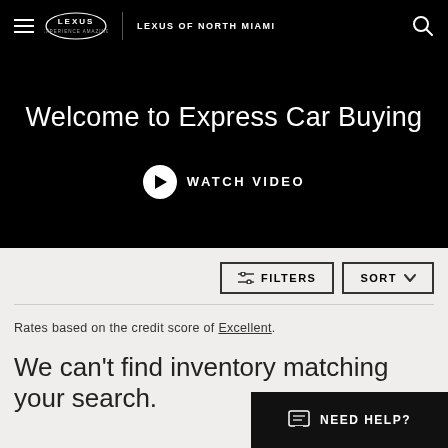LEXUS OF NORTH MIAMI
Welcome to Express Car Buying
WATCH VIDEO
FILTERS   SORT
Rates based on the credit score of Excellent.
We can't find inventory matching your search.
NEED HELP?